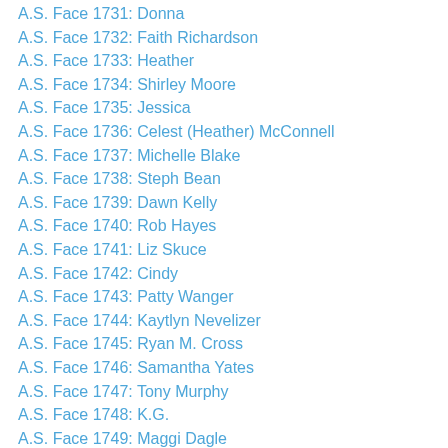A.S. Face 1731: Donna
A.S. Face 1732: Faith Richardson
A.S. Face 1733: Heather
A.S. Face 1734: Shirley Moore
A.S. Face 1735: Jessica
A.S. Face 1736: Celest (Heather) McConnell
A.S. Face 1737: Michelle Blake
A.S. Face 1738: Steph Bean
A.S. Face 1739: Dawn Kelly
A.S. Face 1740: Rob Hayes
A.S. Face 1741: Liz Skuce
A.S. Face 1742: Cindy
A.S. Face 1743: Patty Wanger
A.S. Face 1744: Kaytlyn Nevelizer
A.S. Face 1745: Ryan M. Cross
A.S. Face 1746: Samantha Yates
A.S. Face 1747: Tony Murphy
A.S. Face 1748: K.G.
A.S. Face 1749: Maggi Dagle
A.S. Face 1750: Kelly Ann Baker